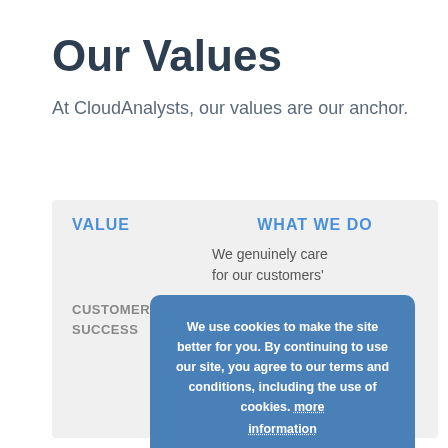Our Values
At CloudAnalysts, our values are our anchor.
| VALUE | WHAT WE DO |
| --- | --- |
|  | We genuinely care for our customers' |
| CUSTOMER SUCCESS | and for our consultants, we go the extra mile. |
We use cookies to make the site better for you. By continuing to use our site, you agree to our terms and conditions, including the use of cookies. more information Accept